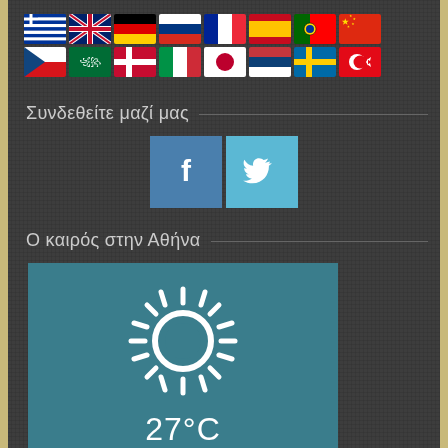[Figure (illustration): Two rows of country flag icons: Row 1: Greece, UK, Germany, Russia, France, Spain, Portugal, China; Row 2: Czech Republic, Saudi Arabia, Denmark, Italy, Japan, Serbia, Sweden, Turkey]
Συνδεθείτε μαζί μας
[Figure (illustration): Facebook and Twitter social media icon buttons, blue square backgrounds with white f and bird icons]
Ο καιρός στην Αθήνα
[Figure (infographic): Weather widget showing sunny weather in Athens, Greece. White sun icon with rays on teal background. Temperature 27°C. City label: ΑΘΗΝΑ, ΕΛΛΑΔΑ]